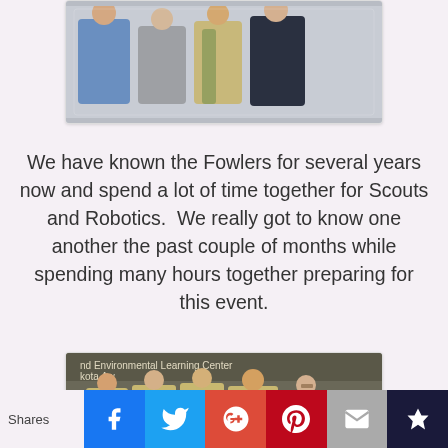[Figure (photo): Group photo of a family including adults and a teen in a Scout uniform with merit badge sash, posed together indoors.]
We have known the Fowlers for several years now and spend a lot of time together for Scouts and Robotics.  We really got to know one another the past couple of months while spending many hours together preparing for this event.
[Figure (photo): Group of Boy Scouts in uniform with merit badge sashes posing in front of a sign reading 'nd Environmental Learning Center kota Aw'.]
Shares